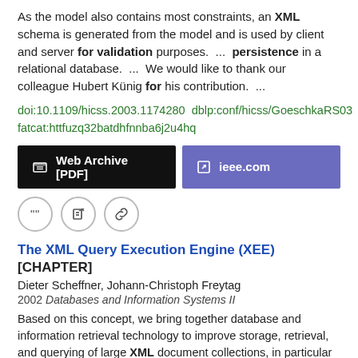As the model also contains most constraints, an XML schema is generated from the model and is used by client and server for validation purposes.  ...  persistence in a relational database.  ...  We would like to thank our colleague Hubert Künig for his contribution.  ...
doi:10.1109/hicss.2003.1174280  dblp:conf/hicss/GoeschkaRS03 fatcat:httfuzq32batdhfnnba6j2u4hq
Web Archive [PDF]    ieee.com
[Figure (other): Three circular icon buttons: quote, edit, and link]
The XML Query Execution Engine (XEE) [CHAPTER]
Dieter Scheffner, Johann-Christoph Freytag
2002 Databases and Information Systems II
Based on this concept, we bring together database and information retrieval technology to improve storage, retrieval, and querying of large XML document collections, in particular with respect to updates  ...  The characteristics of XML documents require new ways of storing and querying such documents.  ...  We propagate this concept to CDATA section indexes and XML namespace indexes as well. XML namespaces are valid for complete subtrees.